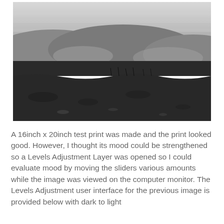[Figure (photo): Black and white landscape photograph showing rolling hills or prairie land with a flat foreground of rough grassland, layered hills in the middle ground, and a light sky with horizontal clouds in the background.]
A 16inch x 20inch test print was made and the print looked good. However, I thought its mood could be strengthened so a Levels Adjustment Layer was opened so I could evaluate mood by moving the sliders various amounts while the image was viewed on the computer monitor. The Levels Adjustment user interface for the previous image is provided below with dark to light